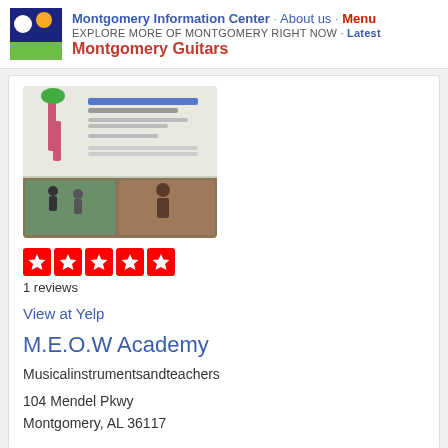Montgomery Information Center · About us · Menu
EXPLORE MORE OF MONTGOMERY RIGHT NOW · Latest
Montgomery Guitars
[Figure (photo): Promotional flyer and event photos showing a music summer program and children playing instruments]
[Figure (other): Five red star rating icons]
1 reviews
View at Yelp
M.E.O.W Academy
Musicalinstrumentsandteachers
104 Mendel Pkwy
Montgomery, AL 36117